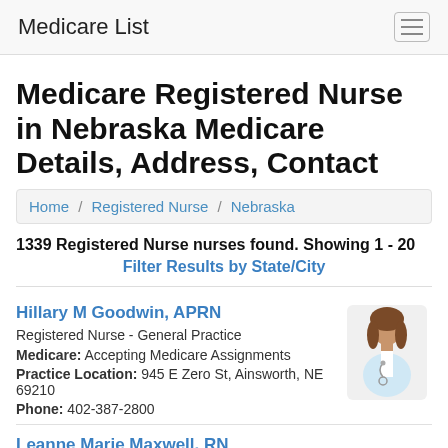Medicare List
Medicare Registered Nurse in Nebraska Medicare Details, Address, Contact
Home / Registered Nurse / Nebraska
1339 Registered Nurse nurses found. Showing 1 - 20
Filter Results by State/City
Hillary M Goodwin, APRN
Registered Nurse - General Practice
Medicare: Accepting Medicare Assignments
Practice Location: 945 E Zero St, Ainsworth, NE 69210
Phone: 402-387-2800
Leanne Marie Maxwell, RN